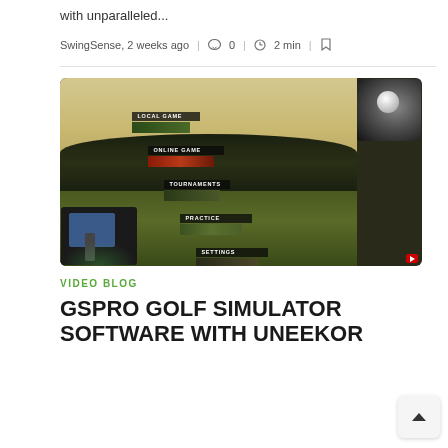with unparalleled...
SwingSense, 2 weeks ago  |  0  |  2 min  |
[Figure (screenshot): Screenshot of GSPro Golf Simulator software showing a golf course menu screen with options: LOCAL GAME, ONLINE GAME, TOURNAMENTS, PRACTICE, SETTINGS. Also shows an inset of a golf ball/club (top right) and a person in front of a simulator screen (bottom left). A YouTube play button is visible in the bottom right corner.]
VIDEO BLOG
GSPRO GOLF SIMULATOR SOFTWARE WITH UNEEKOR